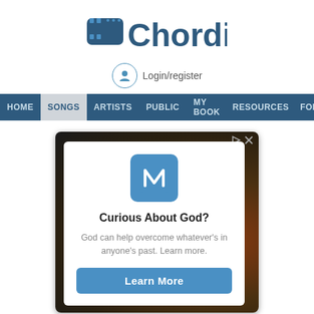[Figure (logo): Chordie website logo — bold dark blue text reading 'Chordie' with a stylized film/music icon on the left]
Login/register
HOME  SONGS  ARTISTS  PUBLIC  MY BOOK  RESOURCES  FORUM
[Figure (screenshot): Advertisement banner with dark vignette background. Inner white card shows a blue square brand logo with a stylized N/arrow icon, headline 'Curious About God?', body text 'God can help overcome whatever's in anyone's past. Learn more.', and a blue 'Learn More' button.]